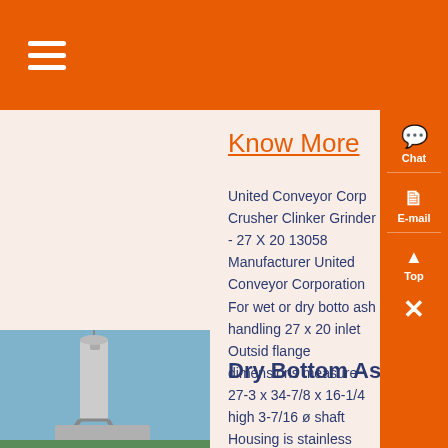Know More
United Conveyor Corp Crusher Clinker Grinder - 27 X 20 13058 Manufacturer United Conveyor Corporation For wet or dry bottom ash handling 27 x 20 inlet Outside flange dimensions measure 27-3 x 34-7/8 x 16-1/4 high 3-7/16 ø shaft Housing is stainless steel Shipping info 45 x 50 x 22 , 1435lbs...
[Figure (photo): Industrial dry bottom ash handling equipment or tower structure photographed against blue sky]
Dry Bottom Ash